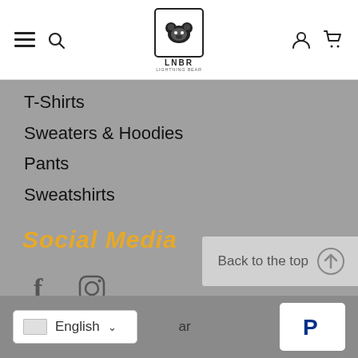LNBR logo, hamburger menu, search, account, cart
T-Shirts
Sweaters & Hoodies
Pants
Sweatshirts
Social Media
[Figure (infographic): Facebook and Instagram icons]
Back to the top
English language selector, partial text 'ar', PayPal payment icon